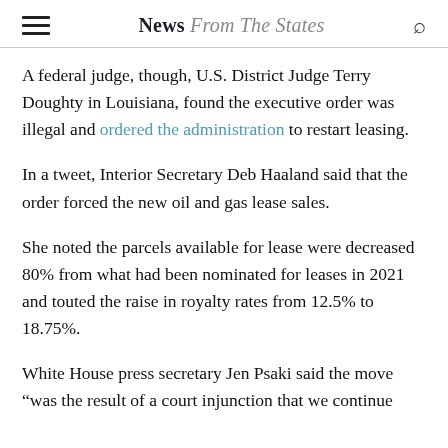News From The States
A federal judge, though, U.S. District Judge Terry Doughty in Louisiana, found the executive order was illegal and ordered the administration to restart leasing.
In a tweet, Interior Secretary Deb Haaland said that the order forced the new oil and gas lease sales.
She noted the parcels available for lease were decreased 80% from what had been nominated for leases in 2021 and touted the raise in royalty rates from 12.5% to 18.75%.
White House press secretary Jen Psaki said the move “was the result of a court injunction that we continue to oppose” And it does indicate with the president’s